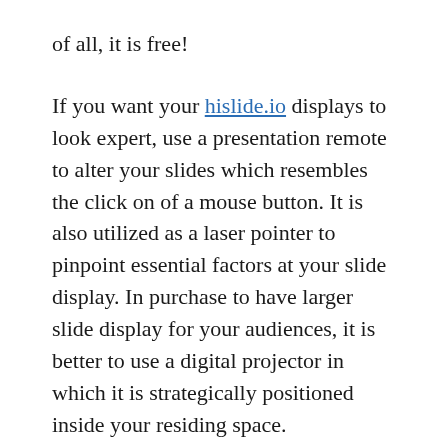of all, it is free!
If you want your hislide.io displays to look expert, use a presentation remote to alter your slides which resembles the click on of a mouse button. It is also utilized as a laser pointer to pinpoint essential factors at your slide display. In purchase to have larger slide display for your audiences, it is better to use a digital projector in which it is strategically positioned inside your residing space.
Stage 2– As we move in to phase two you will discover that Visitors Siphon describes more methods of obtaining visitors to your web site without using the most apparent methods. You